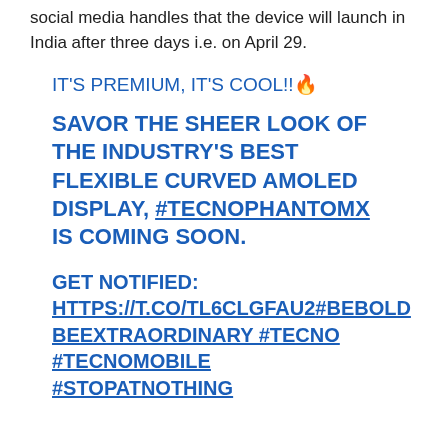social media handles that the device will launch in India after three days i.e. on April 29.
IT'S PREMIUM, IT'S COOL!!🔥
SAVOR THE SHEER LOOK OF THE INDUSTRY'S BEST FLEXIBLE CURVED AMOLED DISPLAY, #TECNOPHANTOMX IS COMING SOON.
GET NOTIFIED: HTTPS://T.CO/TL6CLGFAU2#BEBOLDBEEXTRAORDINARY #TECNO #TECNOMOBILE #STOPATNOTHING